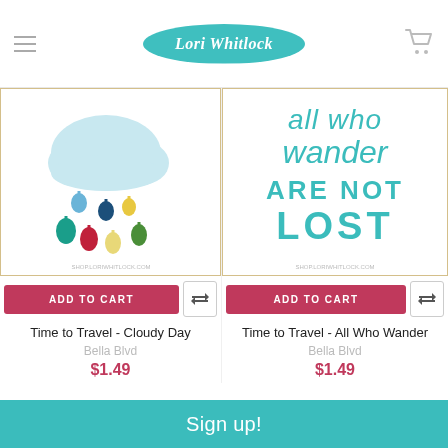Lori Whitlock
[Figure (illustration): Craft die cut image showing a cloud with colorful raindrops (blue, teal, dark blue, yellow, red, yellow, green) on white background. Website URL SHOP.LORIWHITLOCK.COM at bottom.]
ADD TO CART
Time to Travel - Cloudy Day
Bella Blvd
$1.49
[Figure (illustration): Craft die cut image showing turquoise/teal text reading 'all who wander ARE NOT LOST' on white background. Website URL SHOP.LORIWHITLOCK.COM at bottom.]
ADD TO CART
Time to Travel - All Who Wander
Bella Blvd
$1.49
[Figure (illustration): Partial view of Dresden digital cutting file card packaging (bottom of page, left).]
[Figure (illustration): Partial view of Dresden digital cutting file card packaging (bottom of page, right).]
Sign up!